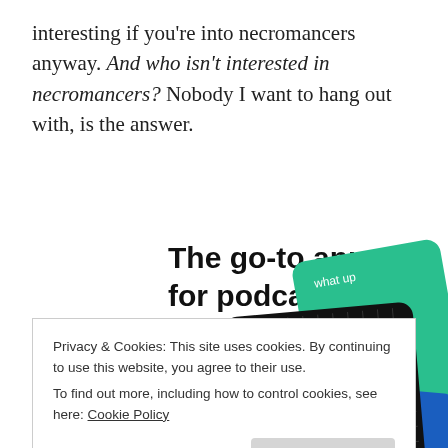interesting if you're into necromancers anyway. And who isn't interested in necromancers? Nobody I want to hang out with, is the answer.
[Figure (infographic): Advertisement for a podcast app. Text reads 'The go-to app for podcast lovers.' with a 'Download now' link in red. Shows cards including a '99% Invisible' podcast card on a black grid background, a green card, and other colorful cards.]
Privacy & Cookies: This site uses cookies. By continuing to use this website, you agree to their use.
To find out more, including how to control cookies, see here: Cookie Policy
about a man who artificially attains immortality. Without